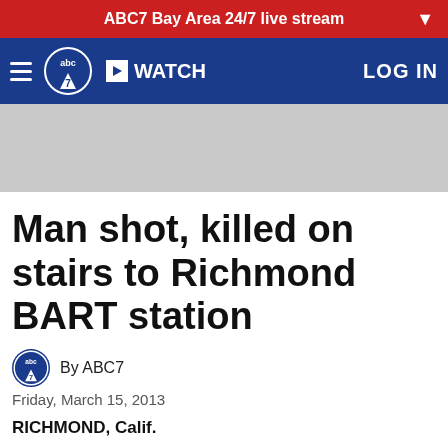ABC7 Bay Area 24/7 live stream
[Figure (logo): ABC7 navigation bar with hamburger menu, abc7 logo, WATCH button, and LOG IN link on blue background]
[Figure (other): Gray advertisement banner placeholder]
Man shot, killed on stairs to Richmond BART station
By ABC7
Friday, March 15, 2013
RICHMOND, Calif.
"I heard about 4-5 gunshots. They just rang out. People started scrambling," said Malik Carter, a Richmond resident.
"I came around. I was scared because I saw the blood all...